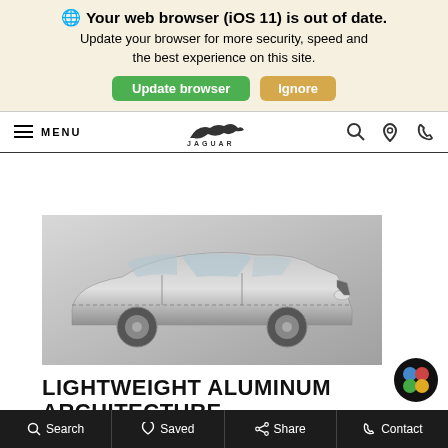🌐 Your web browser (iOS 11) is out of date. Update your browser for more security, speed and the best experience on this site.
Update browser | Ignore
MENU | JAGUAR | Search | Location | Phone
[Figure (photo): Side profile photo of a Jaguar car body/chassis in silver/aluminum on a grey background showing the lightweight aluminum architecture]
LIGHTWEIGHT ALUMINUM ARCHITECTURE
Search | Saved | Share | Contact